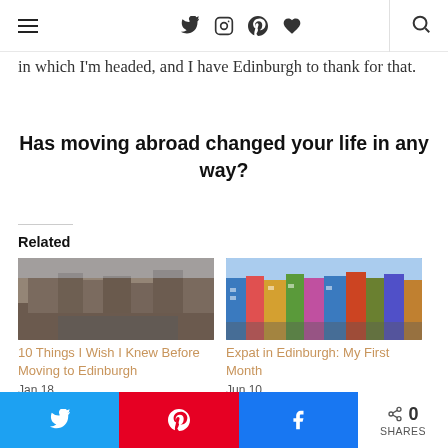Navigation and social icons header
in which I'm headed, and I have Edinburgh to thank for that.
Has moving abroad changed your life in any way?
Related
[Figure (photo): Street view of Edinburgh city centre with traffic and historic tenement buildings]
10 Things I Wish I Knew Before Moving to Edinburgh
Jan 18
In "Edinburgh"
[Figure (photo): Colourful shopfronts on an Edinburgh street with blue sky]
Expat in Edinburgh: My First Month
Jun 10
In "Edinburgh"
Twitter share, Pinterest share, Facebook share, 0 SHARES